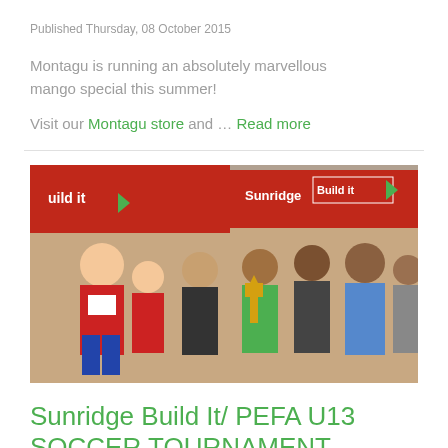Published Thursday, 08 October 2015
Montagu is running an absolutely marvellous mango special this summer!
Visit our Montagu store and ... Read more
[Figure (photo): Group of people standing in front of a Sunridge Build It banner, with a person holding a trophy in the middle.]
Sunridge Build It/ PEFA U13 SOCCER TOURNAMENT
Published Tuesday, 25 August 2015